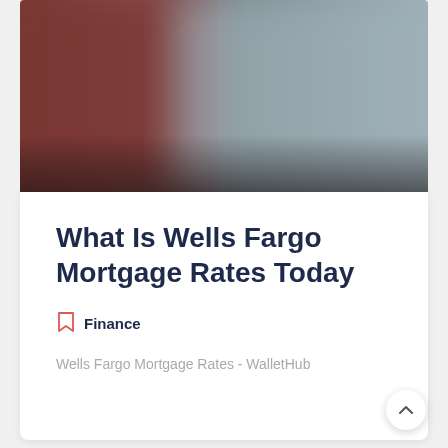[Figure (photo): Blurred hero image with warm reddish-brown tones on the left fading to cool gray-blue on the right, serving as decorative article header image]
What Is Wells Fargo Mortgage Rates Today
Finance
Wells Fargo Mortgage Rates - WalletHub